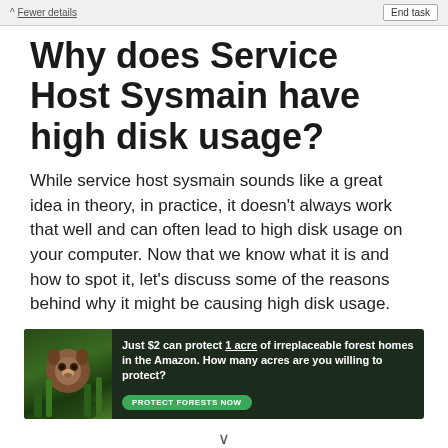^ Fewer details | End task
Why does Service Host Sysmain have high disk usage?
While service host sysmain sounds like a great idea in theory, in practice, it doesn't always work that well and can often lead to high disk usage on your computer. Now that we know what it is and how to spot it, let's discuss some of the reasons behind why it might be causing high disk usage.
[Figure (infographic): Advertisement banner with dark forest background and orangutan image. Text reads: 'Just $2 can protect 1 acre of irreplaceable forest homes in the Amazon. How many acres are you willing to protect?' with a green 'PROTECT FORESTS NOW' button.]
v